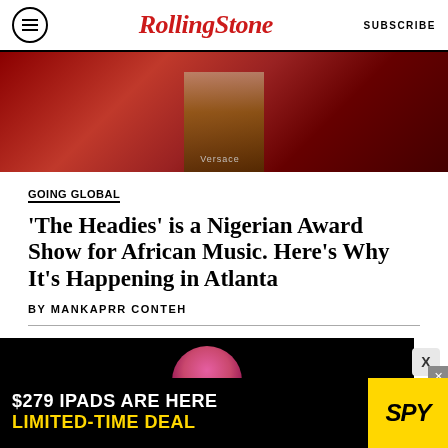Rolling Stone  SUBSCRIBE
[Figure (photo): Partial view of a performer on stage with red background, wearing Versace waistband, bare midriff]
GOING GLOBAL
'The Headies' is a Nigerian Award Show for African Music. Here's Why It's Happening in Atlanta
BY MANKAPRR CONTEH
[Figure (photo): Performer with pink hair singing into a microphone against a black background]
[Figure (other): Advertisement banner: $279 IPADS ARE HERE LIMITED-TIME DEAL — SPY]